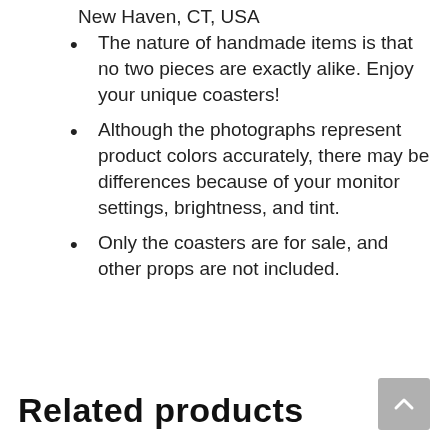New Haven, CT, USA
The nature of handmade items is that no two pieces are exactly alike. Enjoy your unique coasters!
Although the photographs represent product colors accurately, there may be differences because of your monitor settings, brightness, and tint.
Only the coasters are for sale, and other props are not included.
Related products